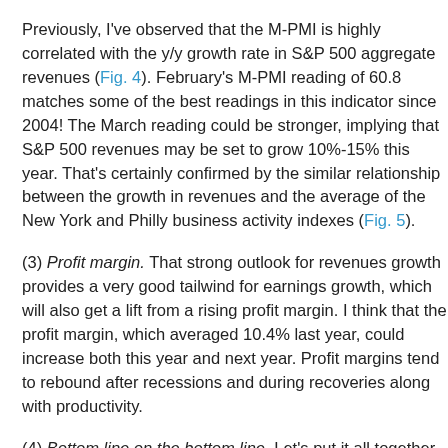Previously, I've observed that the M-PMI is highly correlated with the y/y growth rate in S&P 500 aggregate revenues (Fig. 4). February's M-PMI reading of 60.8 matches some of the best readings in this indicator since 2004! The March reading could be stronger, implying that S&P 500 revenues may be set to grow 10%-15% this year. That's certainly confirmed by the similar relationship between the growth in revenues and the average of the New York and Philly business activity indexes (Fig. 5).
(3) Profit margin. That strong outlook for revenues growth provides a very good tailwind for earnings growth, which will also get a lift from a rising profit margin. I think that the profit margin, which averaged 10.4% last year, could increase both this year and next year. Profit margins tend to rebound after recessions and during recoveries along with productivity.
(4) Bottom line on the bottom line. Let's put it all together now. I am raising my S&P 500 revenues forecast by $50 to $1,550 per share this year, up 14.0% from the 2020 level (Fig. 6). For next year, I am sticking with my $1,600 revenues estimate, representing just a 3.2% increase. That's